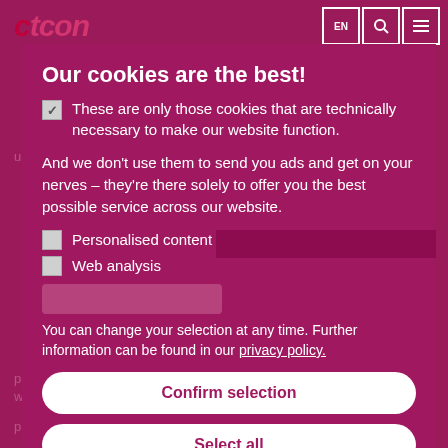[Figure (logo): ctcon logo in dark pink/magenta italic bold font, top left]
Our cookies are the best!
These are only those cookies that are technically necessary to make our website function.
And we don't use them to send you ads and get on your nerves – they're there solely to offer you the best possible service across our website.
Personalised content
Web analysis
You can change your selection at any time. Further information can be found in our privacy policy.
Confirm selection
Select all